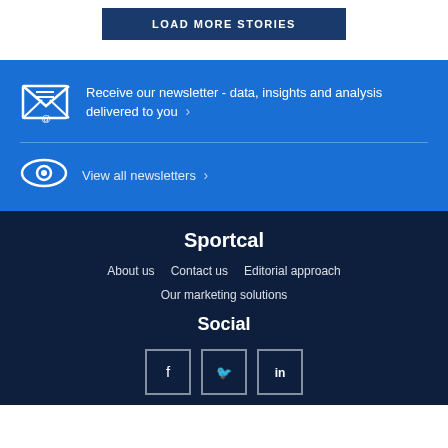LOAD MORE STORIES
Receive our newsletter - data, insights and analysis delivered to you
View all newsletters
Sportcal
About us
Contact us
Editorial approach
Our marketing solutions
Social
[Figure (other): Social media icons for Facebook, Twitter, and LinkedIn]